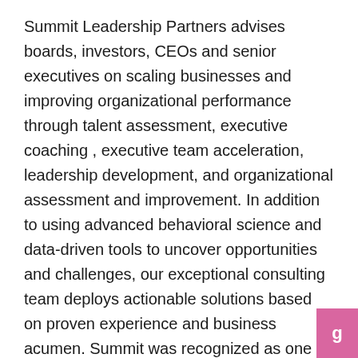Summit Leadership Partners advises boards, investors, CEOs and senior executives on scaling businesses and improving organizational performance through talent assessment, executive coaching , executive team acceleration, leadership development, and organizational assessment and improvement. In addition to using advanced behavioral science and data-driven tools to uncover opportunities and challenges, our exceptional consulting team deploys actionable solutions based on proven experience and business acumen. Summit was recognized as one of America's Top Management Consulting Firms in 2022 by Forbes ranked among the Inc. 5000 of America's fastest growing